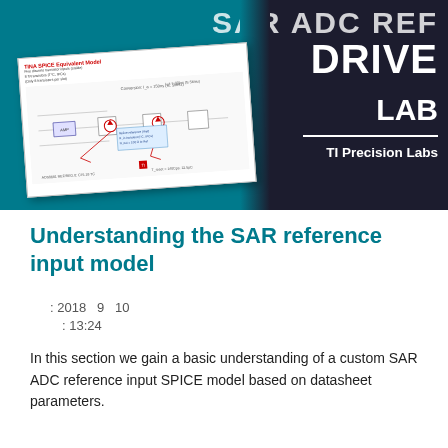[Figure (illustration): Banner image for TI Precision Labs SAR ADC REF DRIVE LAB course, showing a dark teal background with white title text 'SAR ADC REF DRIVE LAB' and 'TI Precision Labs' logo, alongside a thumbnail of a TINA SPICE Equivalent Model circuit diagram schematic.]
Understanding the SAR reference input model
: 2018  9  10
: 13:24
In this section we gain a basic understanding of a custom SAR ADC reference input SPICE model based on datasheet parameters.